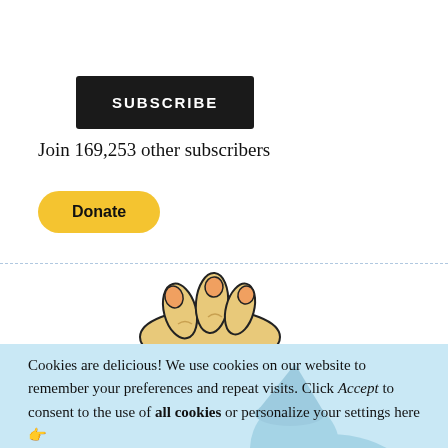[Figure (illustration): Black rounded rectangle SUBSCRIBE button]
Join 169,253 other subscribers
[Figure (illustration): Yellow rounded PayPal-style Donate button]
[Figure (illustration): Illustration showing cartoon hands and a dark triangle shape, partially overlapping cookie banner. Below is a blue witchy reading character illustration.]
Cookies are delicious! We use cookies on our website to remember your preferences and repeat visits. Click Accept to consent to the use of all cookies or personalize your settings here 👉
Cookie settings
ACCEPT